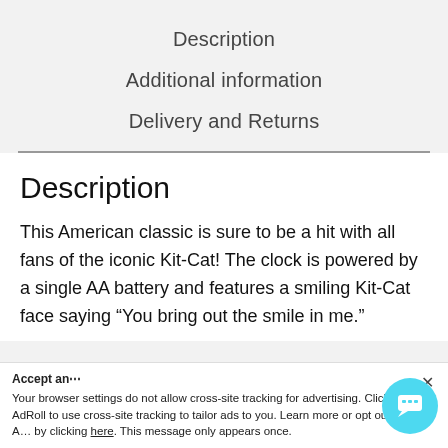Description
Additional information
Delivery and Returns
Description
This American classic is sure to be a hit with all fans of the iconic Kit-Cat! The clock is powered by a single AA battery and features a smiling Kit-Cat face saying “You bring out the smile in me.”
Accept an…
Your browser settings do not allow cross-site tracking for advertising. Click on this AdRoll to use cross-site tracking to tailor ads to you. Learn more or opt out of this A… by clicking here. This message only appears once.